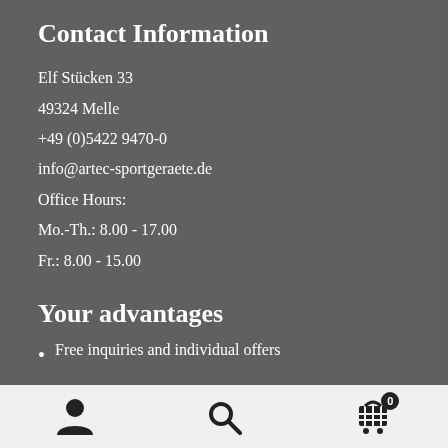Contact Information
Elf Stücken 33
49324 Melle
+49 (0)5422 9470-0
info@artec-sportgeraete.de
Office Hours:
Mo.-Th.: 8.00 - 17.00
Fr.: 8.00 - 15.00
Your advantages
Free inquiries and individual offers
[Figure (other): Footer navigation bar with person icon, search icon, and shopping cart icon with badge showing 0]